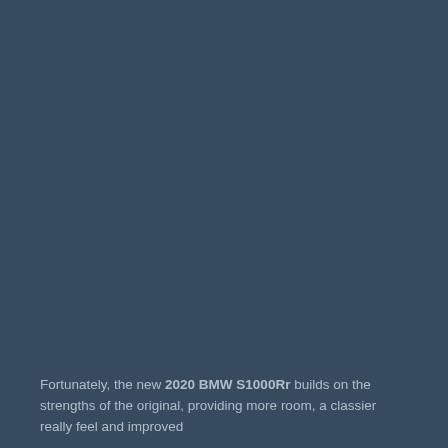[Figure (photo): Full-bleed dark steel-blue background image, likely a motorcycle photo obscured by the dark overlay, filling the upper portion of the page.]
Fortunately, the new 2020 BMW S1000Rr builds on the strengths of the original, providing more room, a classier really feel and improved efficiency...